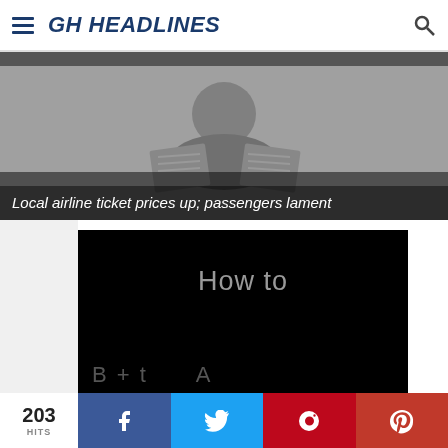GH HEADLINES
[Figure (illustration): Grayscale illustration of a person reading a newspaper, used as hero background image]
Local airline ticket prices up; passengers lament
[Figure (screenshot): Black video thumbnail with 'How to' text visible and partial text at the bottom]
203 HITS
[Figure (infographic): Social share bar with Facebook, Twitter, Pinterest, and Google+ buttons]